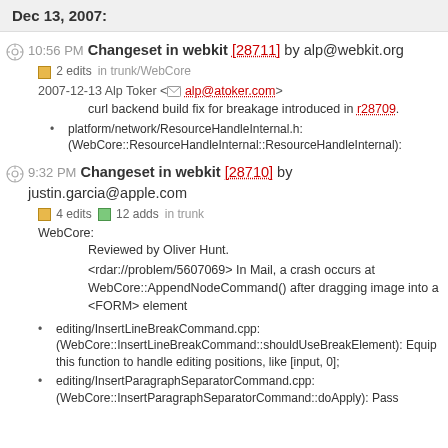Dec 13, 2007:
10:56 PM Changeset in webkit [28711] by alp@webkit.org
2 edits in trunk/WebCore
2007-12-13 Alp Toker <alp@atoker.com>
curl backend build fix for breakage introduced in r28709.
platform/network/ResourceHandleInternal.h: (WebCore::ResourceHandleInternal::ResourceHandleInternal):
9:32 PM Changeset in webkit [28710] by justin.garcia@apple.com
4 edits  12 adds  in trunk
WebCore:
Reviewed by Oliver Hunt.
<rdar://problem/5607069> In Mail, a crash occurs at WebCore::AppendNodeCommand() after dragging image into a <FORM> element
editing/InsertLineBreakCommand.cpp: (WebCore::InsertLineBreakCommand::shouldUseBreakElement): Equip this function to handle editing positions, like [input, 0];
editing/InsertParagraphSeparatorCommand.cpp: (WebCore::InsertParagraphSeparatorCommand::doApply): Pass